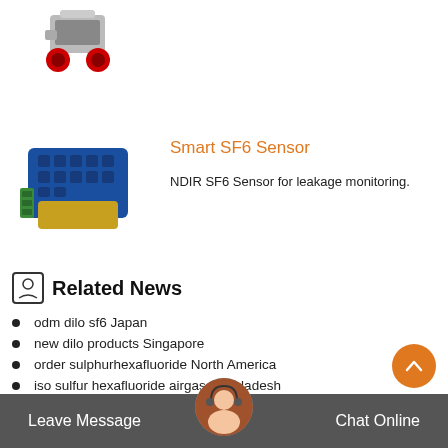[Figure (photo): Small wheeled robotic/mechanical device with red frame, partially visible at top of page]
Smart SF6 Sensor
NDIR SF6 Sensor for leakage monitoring.
[Figure (photo): Blue and gold SF6 sensor module/device]
Related News
odm dilo sf6 Japan
new dilo products Singapore
order sulphurhexafluoride North America
iso sulfur hexafluoride airgas Bangladesh
order sf6 cost Russia
manufacture sf6 gas breaker
Custom Designed buy hexafluoride Japan
Leave Message   Chat Online